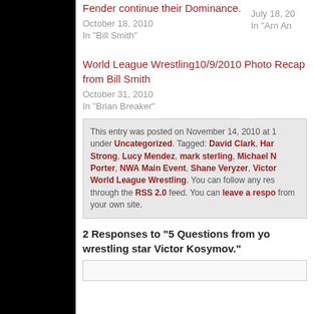Fender continue their Dominance.
October 18, 2010
In "Bill Smith"
July 18, 20...
In "Arn An..."
World League Wrestling10/9/2010 Photo Recap from Bill Smith
October 31, 2010
In "Brian Breaker"
This entry was posted on November 14, 2010 at 1... under Uncategorized. Tagged: David Clark, Har... Strong, Lucy Mendez, mark sterling, Michael N... Porter, NWA Main Event, Shane Veryzer, Victor... World League Wrestling. You can follow any res... through the RSS 2.0 feed. You can leave a respo... from your own site.
2 Responses to “5 Questions from yo... wrestling star Victor Kosymov.”